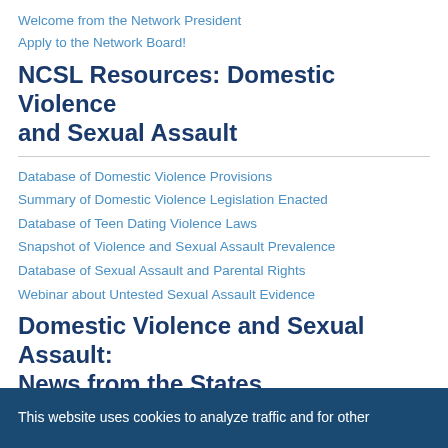Welcome from the Network President
Apply to the Network Board!
NCSL Resources: Domestic Violence and Sexual Assault
Database of Domestic Violence Provisions
Summary of Domestic Violence Legislation Enacted
Database of Teen Dating Violence Laws
Snapshot of Violence and Sexual Assault Prevalence
Database of Sexual Assault and Parental Rights
Webinar about Untested Sexual Assault Evidence
Domestic Violence and Sexual Assault: News from the States
Hawaii
Iowa
Massachusetts
South Carolina
This website uses cookies to analyze traffic and for other